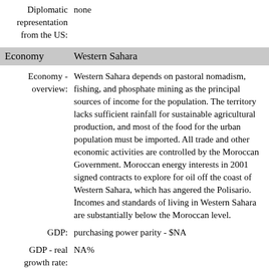Diplomatic representation from the US: none
Economy    Western Sahara
Economy - overview: Western Sahara depends on pastoral nomadism, fishing, and phosphate mining as the principal sources of income for the population. The territory lacks sufficient rainfall for sustainable agricultural production, and most of the food for the urban population must be imported. All trade and other economic activities are controlled by the Moroccan Government. Moroccan energy interests in 2001 signed contracts to explore for oil off the coast of Western Sahara, which has angered the Polisario. Incomes and standards of living in Western Sahara are substantially below the Moroccan level.
GDP: purchasing power parity - $NA
GDP - real growth rate: NA%
GDP - per: purchasing power parity - $NA